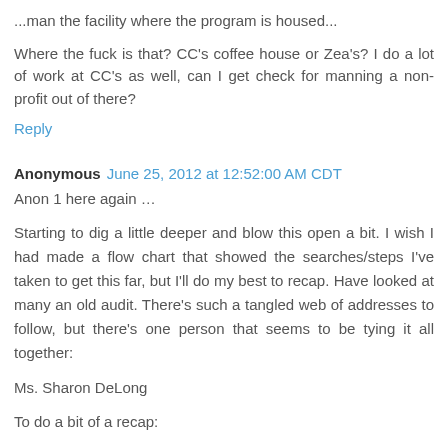...man the facility where the program is housed...
Where the fuck is that? CC's coffee house or Zea's? I do a lot of work at CC's as well, can I get check for manning a non-profit out of there?
Reply
Anonymous June 25, 2012 at 12:52:00 AM CDT
Anon 1 here again …
Starting to dig a little deeper and blow this open a bit. I wish I had made a flow chart that showed the searches/steps I've taken to get this far, but I'll do my best to recap. Have looked at many an old audit. There's such a tangled web of addresses to follow, but there's one person that seems to be tying it all together:
Ms. Sharon DeLong
To do a bit of a recap: